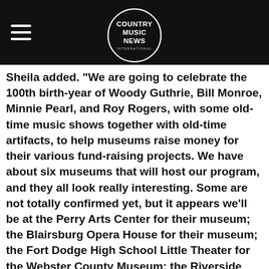COUNTRY MUSIC NEWS INTERNATIONAL
Sheila added.  "We are going to celebrate the 100th birth-year of Woody Guthrie, Bill Monroe, Minnie Pearl, and Roy Rogers, with some old-time music shows together with old-time artifacts, to help museums raise money for their various fund-raising projects.  We have about six museums that will host our program, and they all look really interesting.  Some are not totally confirmed yet, but it appears we’ll be at the Perry Arts Center for their museum; the Blairsburg Opera House for their museum; the Fort Dodge High School Little Theater for the Webster County Museum; the Riverside History Center; the Pioneer Music Museum; and the Fremont County Historical Society. The shows will all be a little different depending on what the museums come up with displays on each of the celebrants.  What is sure, it’s an easy way to create a fund-raiser for